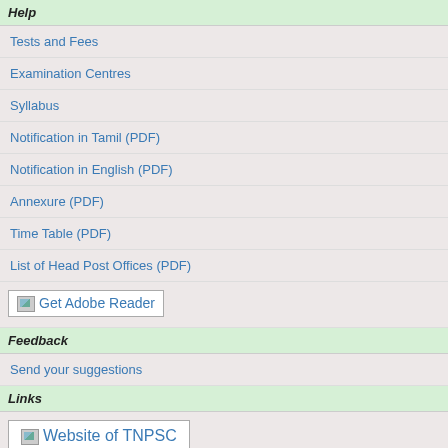Help
Tests and Fees
Examination Centres
Syllabus
Notification in Tamil (PDF)
Notification in English (PDF)
Annexure (PDF)
Time Table (PDF)
List of Head Post Offices (PDF)
[Figure (screenshot): Get Adobe Reader button with broken image icon]
Feedback
Send your suggestions
Links
[Figure (screenshot): Website of TNPSC button with broken image icon]
[Figure (screenshot): Govt. of India Portal button with broken image icon]
[Figure (screenshot): Govt. of Tamil Nadu Portal button with broken image icon]